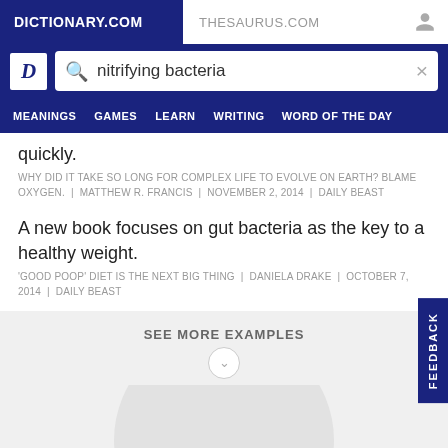DICTIONARY.COM    THESAURUS.COM
nitrifying bacteria
quickly.
WHY DID IT TAKE SO LONG FOR COMPLEX LIFE TO EVOLVE ON EARTH? BLAME OXYGEN.  |  MATTHEW R. FRANCIS  |  NOVEMBER 2, 2014  |  DAILY BEAST
A new book focuses on gut bacteria as the key to a healthy weight.
'GOOD POOP' DIET IS THE NEXT BIG THING  |  DANIELA DRAKE  |  OCTOBER 7, 2014  |  DAILY BEAST
SEE MORE EXAMPLES